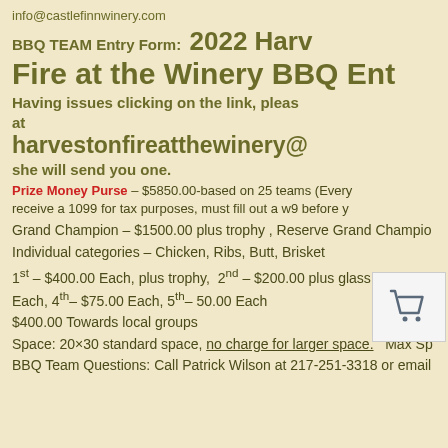info@castlefinnwinery.com
BBQ TEAM Entry Form:  2022 Harv... Fire at the Winery BBQ Ent...
Having issues clicking on the link, pleas... at harvestonfireatthewinery@... she will send you one.
Prize Money Purse – $5850.00-based on 25 teams (Every... receive a 1099 for tax purposes, must fill out a w9 before y...
Grand Champion – $1500.00 plus trophy , Reserve Grand Champio...
Individual categories – Chicken, Ribs, Butt, Brisket
1st – $400.00 Each, plus trophy,  2nd – $200.00 plus glass bottle Tro... Each, 4th– $75.00 Each, 5th– 50.00 Each
$400.00 Towards local groups
Space: 20×30 standard space, no charge for larger space.   Max Sp...
BBQ Team Questions: Call Patrick Wilson at 217-251-3318 or email...